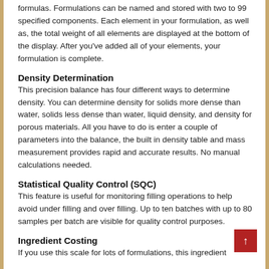formulas. Formulations can be named and stored with two to 99 specified components. Each element in your formulation, as well as, the total weight of all elements are displayed at the bottom of the display. After you've added all of your elements, your formulation is complete.
Density Determination
This precision balance has four different ways to determine density. You can determine density for solids more dense than water, solids less dense than water, liquid density, and density for porous materials. All you have to do is enter a couple of parameters into the balance, the built in density table and mass measurement provides rapid and accurate results. No manual calculations needed.
Statistical Quality Control (SQC)
This feature is useful for monitoring filling operations to help avoid under filling and over filling. Up to ten batches with up to 80 samples per batch are visible for quality control purposes.
Ingredient Costing
If you use this scale for lots of formulations, this ingredient